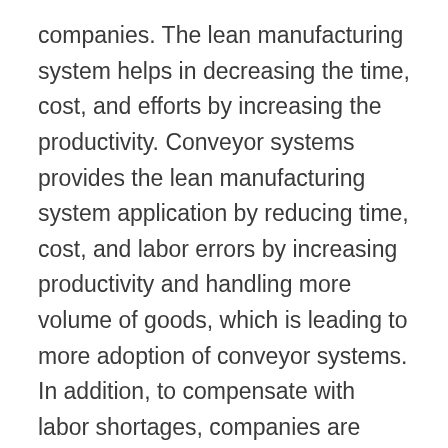companies. The lean manufacturing system helps in decreasing the time, cost, and efforts by increasing the productivity. Conveyor systems provides the lean manufacturing system application by reducing time, cost, and labor errors by increasing productivity and handling more volume of goods, which is leading to more adoption of conveyor systems. In addition, to compensate with labor shortages, companies are adopting the automation system that helps in saving other cost. Hence, conveyor systems are used as the automated systems for the above